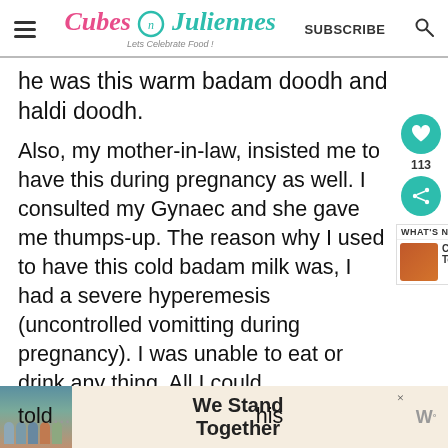[Figure (logo): Cubes n Juliennes food blog logo with tagline 'Lets Celebrate Food!']
he was this warm badam doodh and haldi doodh.
Also, my mother-in-law, insisted me to have this during pregnancy as well. I consulted my Gynaec and she gave me thumps-up. The reason why I used to have this cold badam milk was, I had a severe hyperemesis (uncontrolled vomitting during pregnancy). I was unable to eat or drink any thing. All I could
told... this
[Figure (infographic): We Stand Together advertisement banner with group photo]
[Figure (infographic): What's Next panel showing Carrot Halwa - How To Mak...]